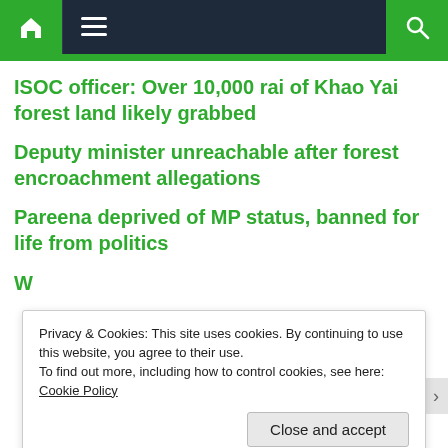Navigation bar with home, menu, and search icons
ISOC officer: Over 10,000 rai of Khao Yai forest land likely grabbed
Deputy minister unreachable after forest encroachment allegations
Pareena deprived of MP status, banned for life from politics
Privacy & Cookies: This site uses cookies. By continuing to use this website, you agree to their use. To find out more, including how to control cookies, see here: Cookie Policy
W...